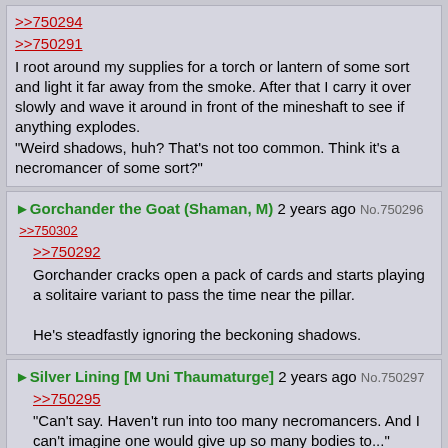>>750294
>>750291
I root around my supplies for a torch or lantern of some sort and light it far away from the smoke. After that I carry it over slowly and wave it around in front of the mineshaft to see if anything explodes.
"Weird shadows, huh? That's not too common. Think it's a necromancer of some sort?"
Gorchander the Goat (Shaman, M) 2 years ago No.750296 >>750302
>>750292
Gorchander cracks open a pack of cards and starts playing a solitaire variant to pass the time near the pillar.

He's steadfastly ignoring the beckoning shadows.
Silver Lining [M Uni Thaumaturge] 2 years ago No.750297
>>750295
"Can't say. Haven't run into too many necromancers. And I can't imagine one would give up so many bodies to..."
I'll wave a hoof dismissively.
"...Whatever this is."
Gorchander the Goat (Shaman, M) 2 years ago No.750298 >>750299 >>750300
Quick Reply